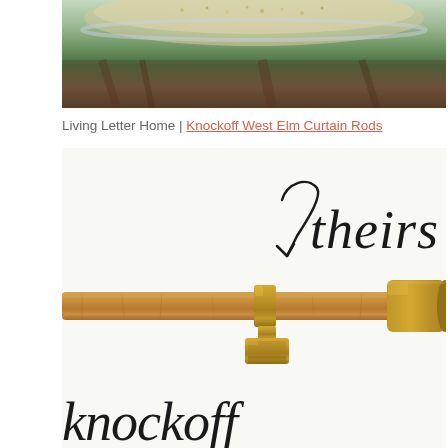[Figure (photo): Top portion of a bird bath or outdoor dish filled with bird seed, set against a background of trees and bark]
Living Letter Home | Knockoff West Elm Curtain Rods
[Figure (photo): A wood and brass curtain rod with a brass bracket/support in the middle and a brass cylindrical finial on the right end. The word 'theirs' is written in handwritten script with a checkmark arrow above the rod.]
knockoff